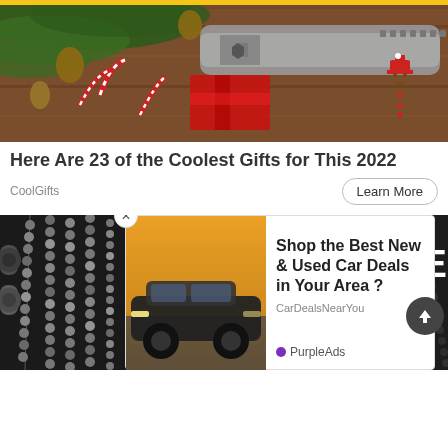[Figure (photo): Christmas themed gift items including a multi-tool key gadget, pine branches, candy canes, pine cones, ribbon, and a gingerbread man cookie on a wooden background]
Here Are 23 of the Coolest Gifts for This 2022
CoolGifts
Learn More
[Figure (photo): Black and white photo of pearl/bead necklaces or decorative chain strands hanging in rows]
[Figure (photo): Popup advertisement showing a dark SUV car (Ford Mustang Mach-E style) on a road with a golden/sunset background]
Shop the Best New & Used Car Deals in Your Area ?
CarDealsNearYou
PurpleAds